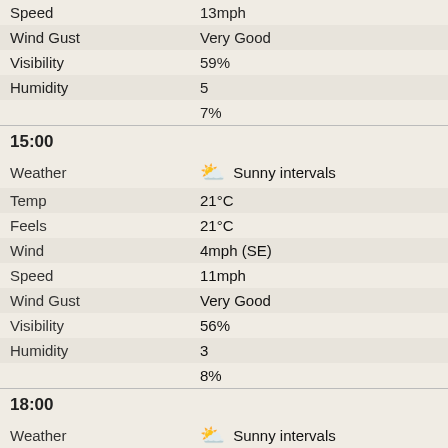| Label | Value |
| --- | --- |
| Speed | 13mph |
| Wind Gust | Very Good |
| Visibility | 59% |
| Humidity | 5 |
|  | 7% |
15:00
| Label | Value |
| --- | --- |
| Weather | Sunny intervals |
| Temp | 21°C |
| Feels | 21°C |
| Wind | 4mph (SE) |
| Speed | 11mph |
| Wind Gust | Very Good |
| Visibility | 56% |
| Humidity | 3 |
|  | 8% |
18:00
| Label | Value |
| --- | --- |
| Weather | Sunny intervals |
| Temp | 21°C |
| Feels | 20°C |
| Wind | 4mph (SE) |
| Speed | 9mph |
| Wind Gust | Very Good |
| Visibility | 62% |
| Humidity | 1 |